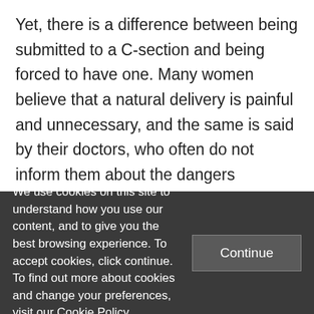Yet, there is a difference between being submitted to a C-section and being forced to have one. Many women believe that a natural delivery is painful and unnecessary, and the same is said by their doctors, who often do not inform them about the dangers involving this kind of procedure, or the benefits of a natural delivery. Actually, C-sections are frequently more profitable to
We use cookies on this site to understand how you use our content, and to give you the best browsing experience. To accept cookies, click continue. To find out more about cookies and change your preferences, visit our Cookie Policy.